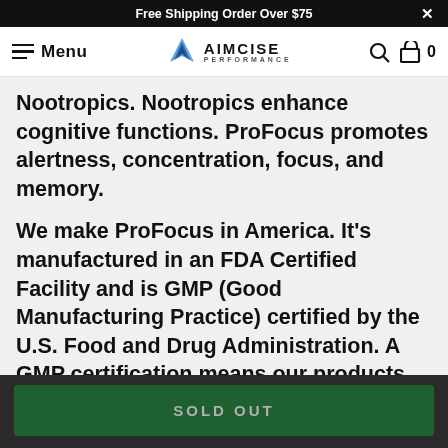Free Shipping Order Over $75  ×
Menu  AIMCISE PERFORMANCE  0
Nootropics. Nootropics enhance cognitive functions. ProFocus promotes alertness, concentration, focus, and memory.
We make ProFocus in America. It's manufactured in an FDA Certified Facility and is GMP (Good Manufacturing Practice) certified by the U.S. Food and Drug Administration. A GMP certification means our products meet quality standards and we make them the same.
SOLD OUT